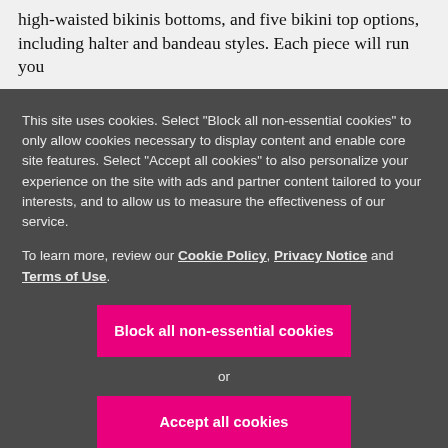high-waisted bikinis bottoms, and five bikini top options, including halter and bandeau styles. Each piece will run you
This site uses cookies. Select "Block all non-essential cookies" to only allow cookies necessary to display content and enable core site features. Select "Accept all cookies" to also personalize your experience on the site with ads and partner content tailored to your interests, and to allow us to measure the effectiveness of our service.
To learn more, review our Cookie Policy, Privacy Notice and Terms of Use.
Block all non-essential cookies
or
Accept all cookies